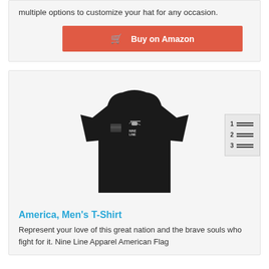multiple options to customize your hat for any occasion.
Buy on Amazon
[Figure (photo): Black men's t-shirt with Nine Line Apparel American Flag graphic on the chest]
America, Men's T-Shirt
Represent your love of this great nation and the brave souls who fight for it. Nine Line Apparel American Flag